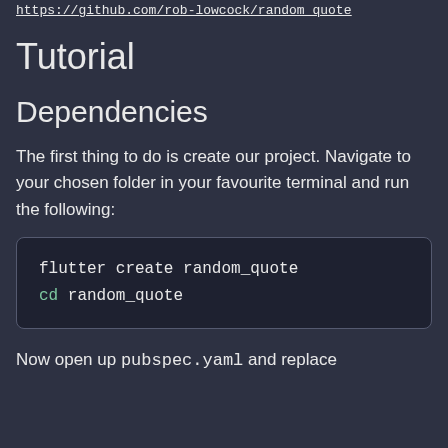https://github.com/rob-lowcock/random_quote
Tutorial
Dependencies
The first thing to do is create our project. Navigate to your chosen folder in your favourite terminal and run the following:
flutter create random_quote
cd random_quote
Now open up pubspec.yaml and replace